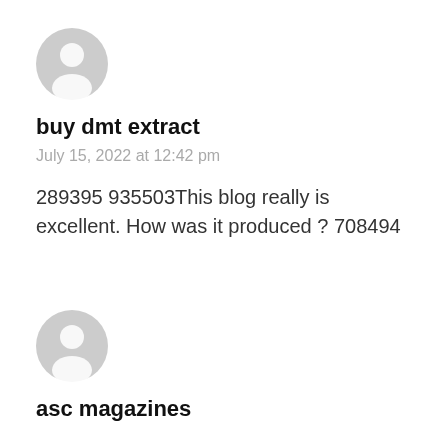[Figure (illustration): Gray default user avatar icon (person silhouette in circle)]
buy dmt extract
July 15, 2022 at 12:42 pm
289395 935503This blog really is excellent. How was it produced ? 708494
[Figure (illustration): Gray default user avatar icon (person silhouette in circle)]
asc magazines